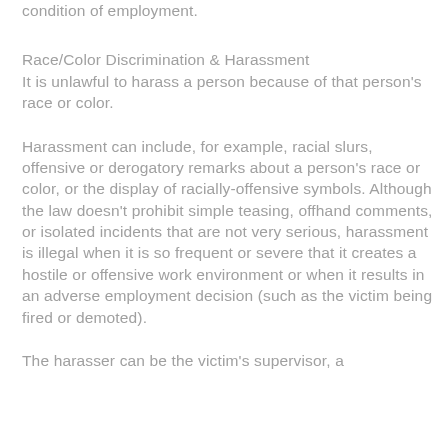condition of employment.
Race/Color Discrimination & Harassment
It is unlawful to harass a person because of that person's race or color.
Harassment can include, for example, racial slurs, offensive or derogatory remarks about a person's race or color, or the display of racially-offensive symbols. Although the law doesn't prohibit simple teasing, offhand comments, or isolated incidents that are not very serious, harassment is illegal when it is so frequent or severe that it creates a hostile or offensive work environment or when it results in an adverse employment decision (such as the victim being fired or demoted).
The harasser can be the victim's supervisor, a